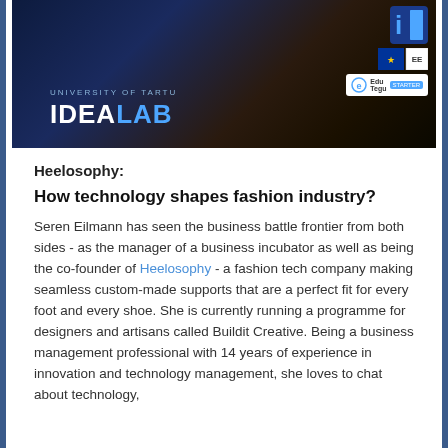[Figure (photo): University of Tartu IdeaLab banner image with dark space/earth background, showing UNIVERSITY OF TARTU IDEALAB text with logos including an IE logo, EU flag logo, and EduTegu Starter logo in the top right corner.]
Heelosophy:
How technology shapes fashion industry?
Seren Eilmann has seen the business battle frontier from both sides - as the manager of a business incubator as well as being the co-founder of Heelosophy - a fashion tech company making seamless custom-made supports that are a perfect fit for every foot and every shoe. She is currently running a programme for designers and artisans called Buildit Creative. Being a business management professional with 14 years of experience in innovation and technology management, she loves to chat about technology,